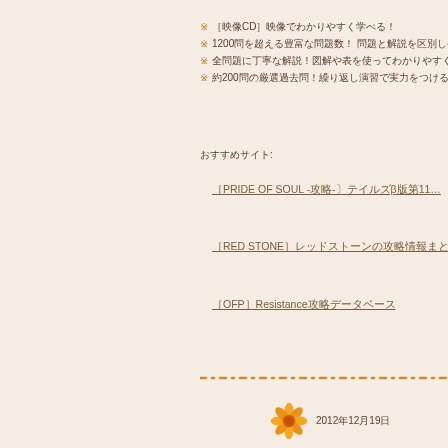※ ［映像CD］映像でわかりやすく学べる！
※ 1200問を超える豊富な問題数！ 問題と解説を区別しやすい
※ 全問題に丁寧な解説！図解や表を使ってわかりやすく
※ 約200問の厳選過去問！繰り返し演習で実力をつける
おすすめサイト:
［PRIDE OF SOUL -攻略-〕テイルズβ版第11…
［RED STONE］レッドストーンの攻略情報まとめサイト
［OFP］Resistance攻略データベース
2012年12月19日